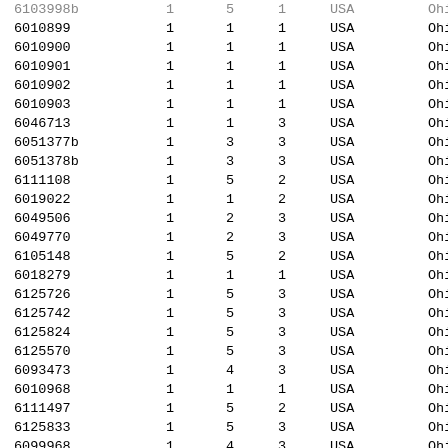| 6103998b | 1 | 5 | 1 | USA | Ohio |
| 6010899 | 1 | 1 | 1 | USA | Ohio |
| 6010900 | 1 | 1 | 1 | USA | Ohio |
| 6010901 | 1 | 1 | 1 | USA | Ohio |
| 6010902 | 1 | 1 | 1 | USA | Ohio |
| 6010903 | 1 | 1 | 1 | USA | Ohio |
| 6046713 | 1 | 1 | 3 | USA | Ohio |
| 6051377b | 1 | 3 | 3 | USA | Ohio |
| 6051378b | 1 | 3 | 3 | USA | Ohio |
| 6111108 | 1 | 5 | 2 | USA | Ohio |
| 6019022 | 1 | 1 | 2 | USA | Ohio |
| 6049506 | 1 | 2 | 3 | USA | Ohio |
| 6049770 | 1 | 2 | 3 | USA | Ohio |
| 6105148 | 1 | 5 | 2 | USA | Ohio |
| 6018279 | 1 | 1 | 1 | USA | Ohio |
| 6125726 | 1 | 5 | 3 | USA | Ohio |
| 6125742 | 1 | 5 | 3 | USA | Ohio |
| 6125824 | 1 | 5 | 3 | USA | Ohio |
| 6125570 | 1 | 5 | 3 | USA | Ohio |
| 6093473 | 1 | 4 | 3 | USA | Ohio |
| 6010968 | 1 | 1 | 1 | USA | Ohio |
| 6111497 | 1 | 5 | 2 | USA | Ohio |
| 6125833 | 1 | 5 | 3 | USA | Ohio |
| 6099968 | 1 | 4 | 3 | USA | Ohio |
| 6099969 | 1 | 4 | 3 | USA | Ohio |
| 6099970 | 1 | 4 | 3 | USA | Ohio |
| 6125817 | 1 | 5 | 3 | USA | Ohio |